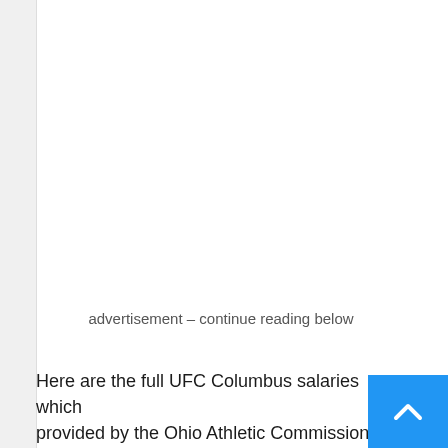advertisement – continue reading below
Here are the full UFC Columbus salaries which provided by the Ohio Athletic Commission to M Fighting